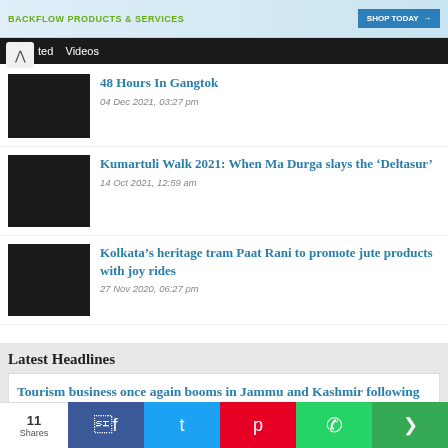BACKFLOW PRODUCTS & SERVICES | SHOP TODAY
Videos
48 Hours In Gangtok
04 Dec 2021, 03:27 pm
Kumartuli Walk 2021: When Ma Durga slays the 'Deltasur'
14 Oct 2021, 12:59 am
Kolkata's heritage tram Paat Rani to promote jute products with joy rides
27 Nov 2020, 06:27 pm
Latest Headlines
Tourism business once again booms in Jammu and Kashmir following rise in number of tourists
11 Shares